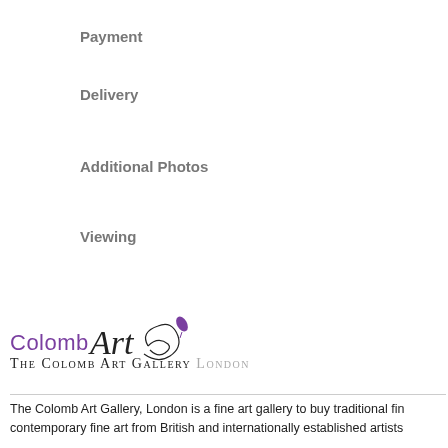Payment
Delivery
Additional Photos
Viewing
[Figure (logo): The Colomb Art Gallery London logo with stylized script and purple leaf accent]
The Colomb Art Gallery, London is a fine art gallery to buy traditional fine contemporary fine art from British and internationally established artists